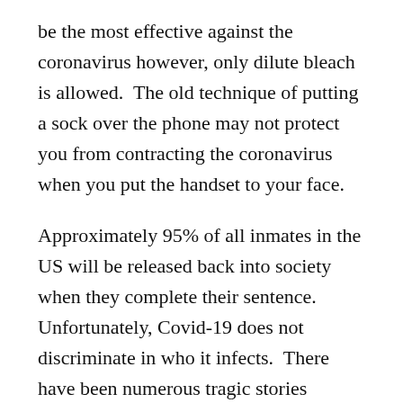be the most effective against the coronavirus however, only dilute bleach is allowed.  The old technique of putting a sock over the phone may not protect you from contracting the coronavirus when you put the handset to your face.
Approximately 95% of all inmates in the US will be released back into society when they complete their sentence.  Unfortunately, Covid-19 does not discriminate in who it infects.  There have been numerous tragic stories reported in the news of inmates within days, weeks or months of being released who have contracted the virus and died.  One of the saddest was the case of a women in jail who gave birth while on a ventilator and later died without ever getting to know her child.  Another inmate who was scheduled to